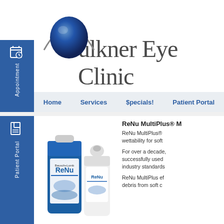[Figure (logo): Faulkner Eye Clinic logo with blue eye/globe graphic and serif clinic name text]
Home   Services   $pecials!   Patient Portal
[Figure (photo): Bausch & Lomb ReNu contact lens solution bottles]
ReNu MultiPlus® M
ReNu MultiPlus® wettability for soft
For over a decade, successfully used industry standards
ReNu MultiPlus ef debris from soft c